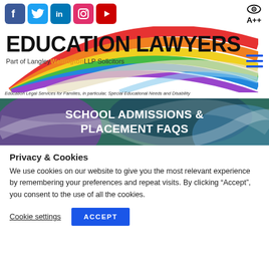[Figure (screenshot): Social media icons row: Facebook (blue), Twitter (blue), LinkedIn (blue), Instagram (pink/red), YouTube (red), plus eye+A++ accessibility icon on the right]
[Figure (logo): Education Lawyers logo with rainbow swoosh graphic background. Text: EDUCATION LAWYERS, Part of LangleyWellingtonLLP Solicitors. Tagline: Education Legal Services for Families, in particular, Special Educational Needs and Disability]
SCHOOL ADMISSIONS & PLACEMENT FAQS
Privacy & Cookies
We use cookies on our website to give you the most relevant experience by remembering your preferences and repeat visits. By clicking “Accept”, you consent to the use of all the cookies.
Cookie settings  ACCEPT